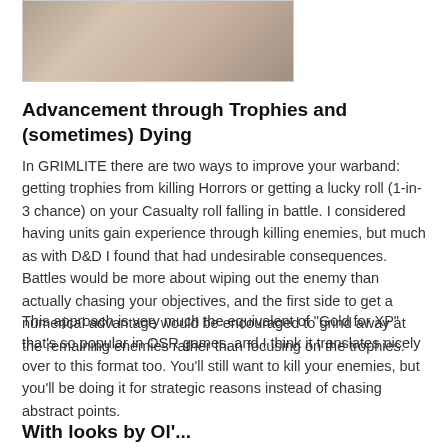[Figure (photo): Partial view of a photo showing cracked dry earth or stone texture with what appears to be a dark circular object at the top]
Advancement through Trophies and (sometimes) Dying
In GRIMLITE there are two ways to improve your warband: getting trophies from killing Horrors or getting a lucky roll (1-in-3 chance) on your Casualty roll falling in battle. I considered having units gain experience through killing enemies, but much as with D&D I found that had undesirable consequences. Battles would be more about wiping out the enemy than actually chasing your objectives, and the first side to get a numerical advantage would be encouraged to grind away at the remaining enemies rather than focusing on the trophies.
This approach is very much the equivalent of "Gold for XP" that's so popular in OSR games, and I think it translates nicely over to this format too. You'll still want to kill your enemies, but you'll be doing it for strategic reasons instead of chasing abstract points.
With looks by Ol' ...